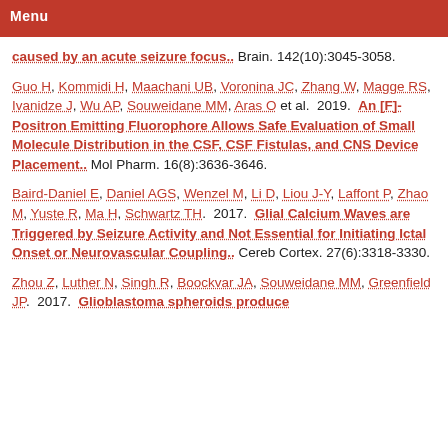Menu
caused by an acute seizure focus.. Brain. 142(10):3045-3058.
Guo H, Kommidi H, Maachani UB, Voronina JC, Zhang W, Magge RS, Ivanidze J, Wu AP, Souweidane MM, Aras O et al. 2019. An [F]-Positron Emitting Fluorophore Allows Safe Evaluation of Small Molecule Distribution in the CSF, CSF Fistulas, and CNS Device Placement.. Mol Pharm. 16(8):3636-3646.
Baird-Daniel E, Daniel AGS, Wenzel M, Li D, Liou J-Y, Laffont P, Zhao M, Yuste R, Ma H, Schwartz TH. 2017. Glial Calcium Waves are Triggered by Seizure Activity and Not Essential for Initiating Ictal Onset or Neurovascular Coupling.. Cereb Cortex. 27(6):3318-3330.
Zhou Z, Luther N, Singh R, Boockvar JA, Souweidane MM, Greenfield JP. 2017. Glioblastoma spheroids produce